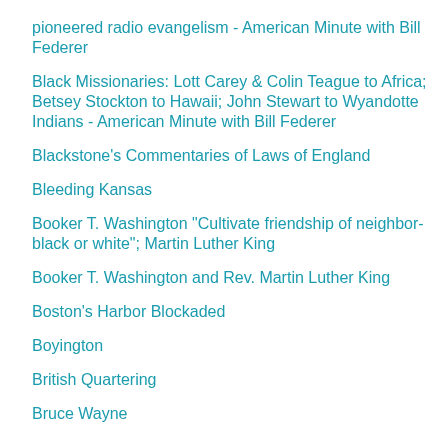pioneered radio evangelism - American Minute with Bill Federer
Black Missionaries: Lott Carey & Colin Teague to Africa; Betsey Stockton to Hawaii; John Stewart to Wyandotte Indians - American Minute with Bill Federer
Blackstone's Commentaries of Laws of England
Bleeding Kansas
Booker T. Washington "Cultivate friendship of neighbor-black or white"; Martin Luther King
Booker T. Washington and Rev. Martin Luther King
Boston's Harbor Blockaded
Boyington
British Quartering
Bruce Wayne